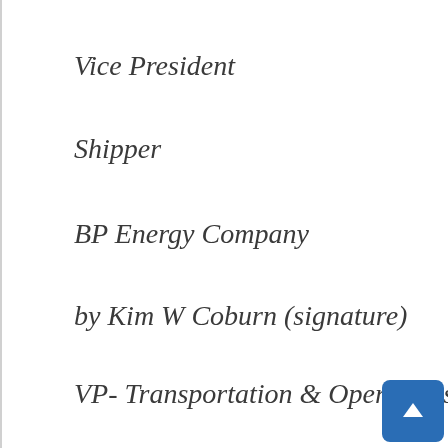Vice President
Shipper
BP Energy Company
by Kim W Coburn (signature)
VP- Transportation & Operations
BP is part of the Ruby Pipeline.  First they killed the dolphins, the whales, the fish, shrimp, oysters, and humans of the Gulf. Now they're killing wild horses their own habitat out west.  Or, rather, our politicians